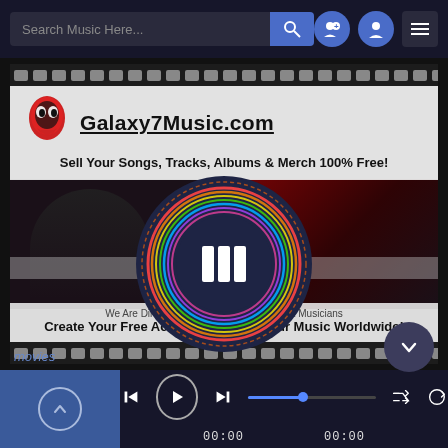[Figure (screenshot): Mobile music app UI with search bar, navigation icons, film strip frame showing Galaxy7Music.com advertisement overlay with alien logo, music visualizer circle with colorful rings, and bottom media player controls showing 00:00 timestamps]
Search Music Here...
Galaxy7Music.com
Sell Your Songs, Tracks, Albums & Merch 100% Free!
We Are Direct Payments To Artist, Bands & Musicians
Create Your Free Account And Sell Your Music Worldwide!
movies
00:00  00:00